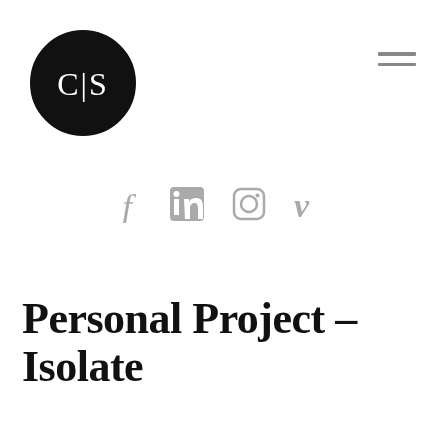[Figure (logo): Circular black logo with white letters C|S in the center, serif font]
[Figure (infographic): Hamburger menu icon (three horizontal lines) in gray, top-right corner]
[Figure (infographic): Social media icons row: Facebook (f), LinkedIn (in), Instagram (camera), Vimeo (v) — all in gray]
Personal Project – Isolate